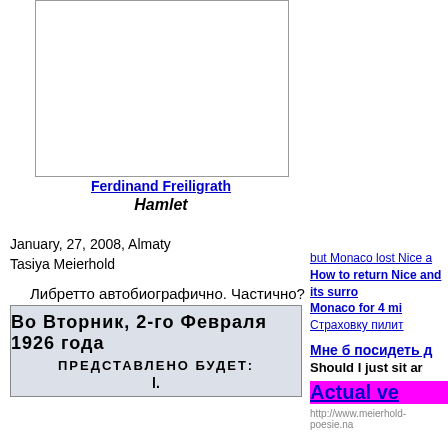[Figure (photo): Blank/white image box with border — portrait area]
Ferdinand Freiligrath
Hamlet
January, 27, 2008, Almaty
Tasiya Meierhold
Либретто автобиографично. Частично?
[Figure (photo): Playbill image reading: Во Вторник, 2-го Февраля 1926 года ПРЕДСТАВЛЕНО БУДЕТ: l.]
but Monaco lost Nice a
How to return Nice and its surro
Monaco for 4 mi
Страховку пилит
Мне б посидеть д
Should I just sit ar
Actual ve
http://www.meierhold-poesie.na